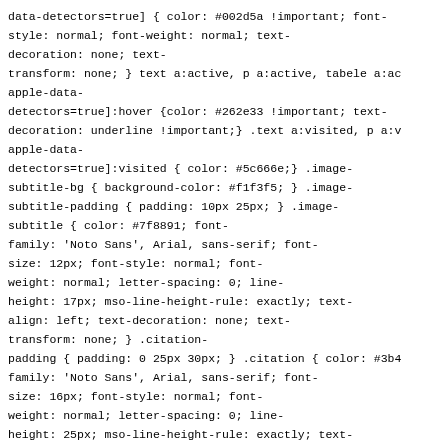data-detectors=true] { color: #002d5a !important; font-style: normal; font-weight: normal; text-decoration: none; text-transform: none; } text a:active, p a:active, tabele a:active[apple-data-detectors=true]:hover {color: #262e33 !important; text-decoration: underline !important;} .text a:visited, p a:visited[apple-data-detectors=true]:visited { color: #5c666e;} .image-subtitle-bg { background-color: #f1f3f5; } .image-subtitle-padding { padding: 10px 25px; } .image-subtitle { color: #7f8891; font-family: 'Noto Sans', Arial, sans-serif; font-size: 12px; font-style: normal; font-weight: normal; letter-spacing: 0; line-height: 17px; mso-line-height-rule: exactly; text-align: left; text-decoration: none; text-transform: none; } .citation-padding { padding: 0 25px 30px; } .citation { color: #3b4... font-family: 'Noto Sans', Arial, sans-serif; font-size: 16px; font-style: normal; font-weight: normal; letter-spacing: 0; line-height: 25px; mso-line-height-rule: exactly; text-align: left; text-decoration: none; text-transform: none; } .contact-padding { padding: 30px 25px; } .contact-headline { color: #3b444d; font-family: 'Noto Sans', Arial, sans-serif; font-size: 16px; font-style: normal; font-weight: bold; letter-spacing: 1.2px; line-